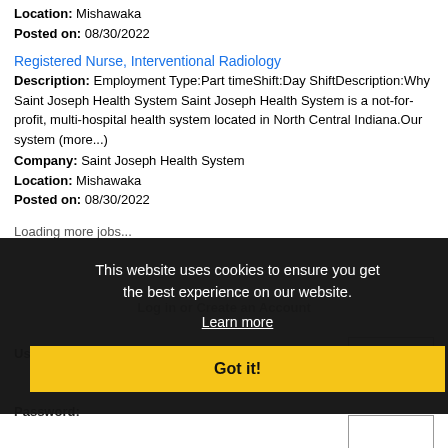Location: Mishawaka
Posted on: 08/30/2022
Registered Nurse, Interventional Radiology
Description: Employment Type:Part timeShift:Day ShiftDescription:Why Saint Joseph Health System Saint Joseph Health System is a not-for-profit, multi-hospital health system located in North Central Indiana.Our system (more...)
Company: Saint Joseph Health System
Location: Mishawaka
Posted on: 08/30/2022
Loading more jobs...
[Figure (screenshot): Cookie consent overlay with dark background, message 'This website uses cookies to ensure you get the best experience on our website.', a 'Learn more' link, and a yellow 'Got it!' button. Behind the overlay is a partially visible login form with Username and Password fields.]